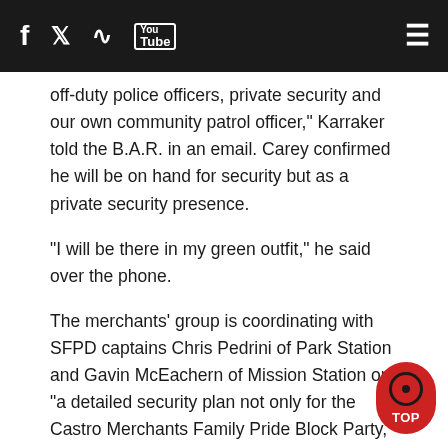Social media navigation bar with Facebook, Twitter, RSS, YouTube icons and hamburger menu
off-duty police officers, private security and our own community patrol officer," Karraker told the B.A.R. in an email. Carey confirmed he will be on hand for security but as a private security presence.
"I will be there in my green outfit," he said over the phone.
The merchants' group is coordinating with SFPD captains Chris Pedrini of Park Station and Gavin McEachern of Mission Station on "a detailed security plan not only for the Castro Merchants Family Pride Block Party, but the entire weekend," said Karraker.
"It's unfortunate that recent events, including the storming of a drag queen storytime in the East Bay and death threats to our state senator, have led to security